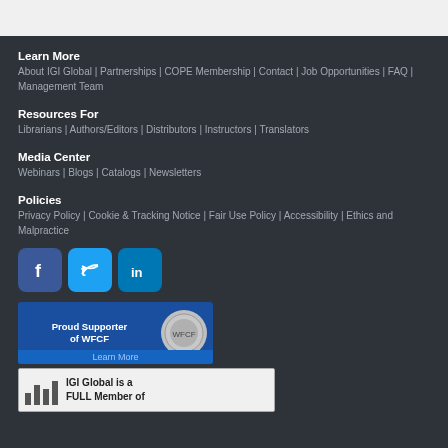Learn More
About IGI Global | Partnerships | COPE Membership | Contact | Job Opportunities | FAQ | Management Team
Resources For
Librarians | Authors/Editors | Distributors | Instructors | Translators
Media Center
Webinars | Blogs | Catalogs | Newsletters
Policies
Privacy Policy | Cookie & Tracking Notice | Fair Use Policy | Accessibility | Ethics and Malpractice
[Figure (logo): Facebook, Twitter, LinkedIn social media icons]
[Figure (logo): Proud Supporter of WFCF badge with Learn More button]
[Figure (logo): IGI Global is a FULL Member of badge]